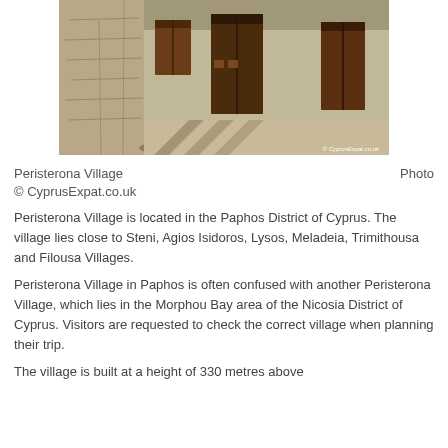[Figure (photo): Street view of Peristerona Village showing old stone and concrete buildings with wooden doors, shadows cast on the ground. Watermark: © CyprusExpat.co.uk]
Peristerona Village                                                Photo
© CyprusExpat.co.uk
Peristerona Village is located in the Paphos District of Cyprus. The village lies close to Steni, Agios Isidoros, Lysos, Meladeia, Trimithousa and Filousa Villages.
Peristerona Village in Paphos is often confused with another Peristerona Village, which lies in the Morphou Bay area of the Nicosia District of Cyprus. Visitors are requested to check the correct village when planning their trip.
The village is built at a height of 330 metres above